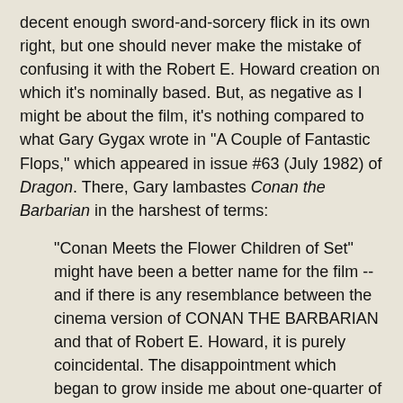decent enough sword-and-sorcery flick in its own right, but one should never make the mistake of confusing it with the Robert E. Howard creation on which it's nominally based. But, as negative as I might be about the film, it's nothing compared to what Gary Gygax wrote in "A Couple of Fantastic Flops," which appeared in issue #63 (July 1982) of Dragon. There, Gary lambastes Conan the Barbarian in the harshest of terms:
"Conan Meets the Flower Children of Set" might have been a better name for the film -- and if there is any resemblance between the cinema version of CONAN THE BARBARIAN and that of Robert E. Howard, it is purely coincidental. The disappointment which began to grow inside me about one-quarter of the way into the film was not mitigated by anything which happened later on. In fact, bad became worse. I refuse to become involved in even a brief synopsis of the movie's story line.
He goes on to say, "If you have any respect for Conan as